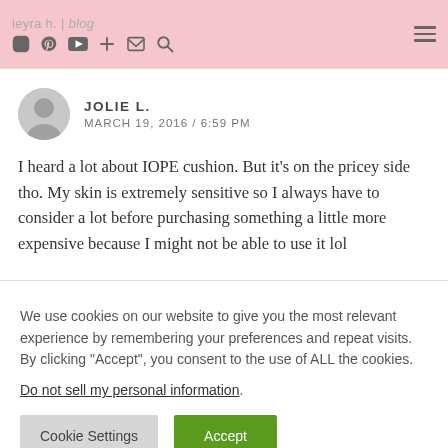leyra h. | blog — navigation icons and hamburger menu
JOLIE L.
MARCH 19, 2016 / 6:59 PM

I heard a lot about IOPE cushion. But it's on the pricey side tho. My skin is extremely sensitive so I always have to consider a lot before purchasing something a little more expensive because I might not be able to use it lol
We use cookies on our website to give you the most relevant experience by remembering your preferences and repeat visits. By clicking "Accept", you consent to the use of ALL the cookies.
Do not sell my personal information.
Cookie Settings   Accept